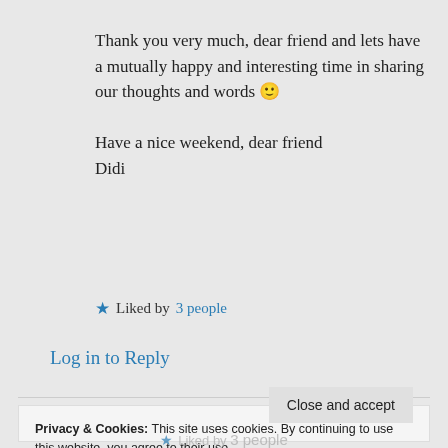Thank you very much, dear friend and lets have a mutually happy and interesting time in sharing our thoughts and words 🙂

Have a nice weekend, dear friend
Didi
★ Liked by 3 people
Log in to Reply
Privacy & Cookies: This site uses cookies. By continuing to use this website, you agree to their use. To find out more, including how to control cookies, see here: Cookie Policy
Close and accept
★ Liked by 3 people